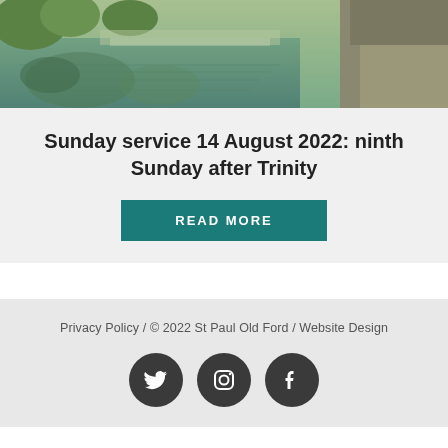[Figure (photo): Outdoor photo of a canal or river with reflections of trees on the water surface, with a stone or wooden path/jetty visible on the right side.]
Sunday service 14 August 2022: ninth Sunday after Trinity
READ MORE
Privacy Policy / © 2022 St Paul Old Ford / Website Design